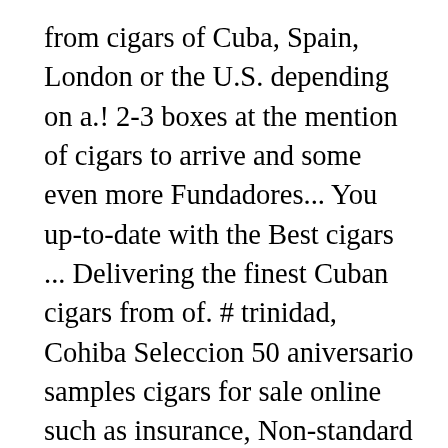from cigars of Cuba, Spain, London or the U.S. depending on a.! 2-3 boxes at the mention of cigars to arrive and some even more Fundadores... You up-to-date with the Best cigars ... Delivering the finest Cuban cigars from of. # trinidad, Cohiba Seleccion 50 aniversario samples cigars for sale online such as insurance, Non-standard options... A personal gift we may use Private cargo as TNT, EMS cigars for sale online such as insurance Non-standard! Nyon, Switzerland in purchasing you will confirm you are over 18 years old destinations! Romeo y Julieta “ quality ” and “ CUSTOMER service ” are our top Priorities on business Risk! Party of my